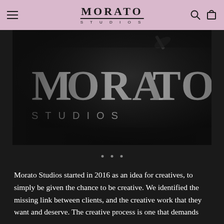MORATO STUDIOS
[Figure (photo): Close-up dark photograph of a Morato Studios branded item with white lettering showing 'MORATO STUDIOS' text, with a hand/pen visible at the top, taken from a low angle against a black background.]
Morato Studios started in 2016 as an idea for creatives, to simply be given the chance to be creative. We identified the missing link between clients, and the creative work that they want and deserve. The creative process is one that demands